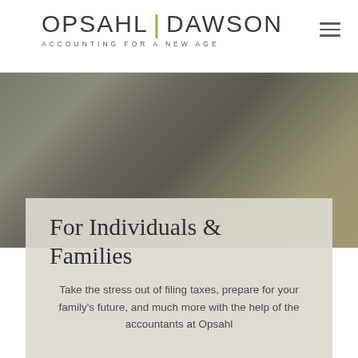[Figure (logo): Opsahl Dawson logo with green divider bar and tagline 'ACCOUNTING FOR A NEW AGE']
[Figure (photo): Blurred background photo with muted gray-green and olive tones, appears to be an interior or outdoor scene]
For Individuals & Families
Take the stress out of filing taxes, prepare for your family's future, and much more with the help of the accountants at Opsahl